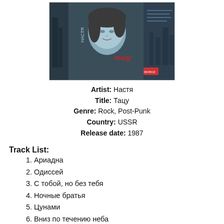[Figure (photo): Album cover photo of Настя - Тацу, showing a woman with short hair against a dark city background, cassette tape cover layout]
Artist: Настя
Title: Тацу
Genre: Rock, Post-Punk
Country: USSR
Release date: 1987
Track List:
1. Ариадна
2. Одиссей
3. С тобой, но без тебя
4. Ночные братья
5. Цунами
6. Вниз по течению неба